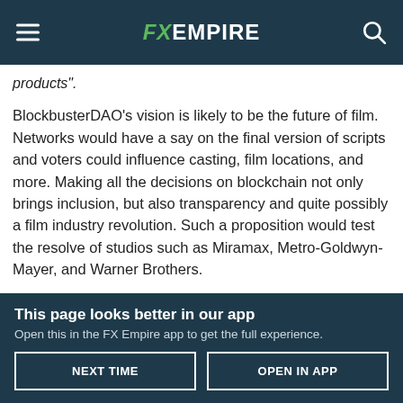FX EMPIRE
products".
BlockbusterDAO's vision is likely to be the future of film. Networks would have a say on the final version of scripts and voters could influence casting, film locations, and more. Making all the decisions on blockchain not only brings inclusion, but also transparency and quite possibly a film industry revolution. Such a proposition would test the resolve of studios such as Miramax, Metro-Goldwyn-Mayer, and Warner Brothers.
This page looks better in our app
Open this in the FX Empire app to get the full experience.
NEXT TIME  OPEN IN APP